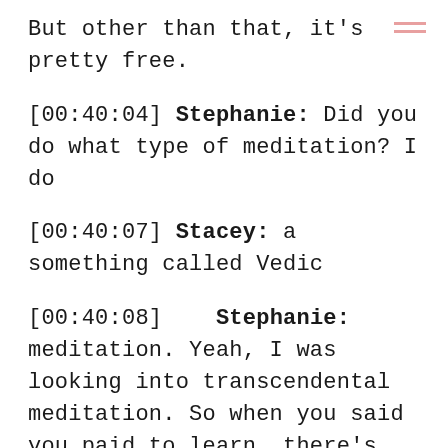But other than that, it's pretty free.
[00:40:04] Stephanie: Did you do what type of meditation? I do
[00:40:07] Stacey: a something called Vedic
[00:40:08] Stephanie: meditation. Yeah, I was looking into transcendental meditation. So when you said you paid to learn, there's only a few programs